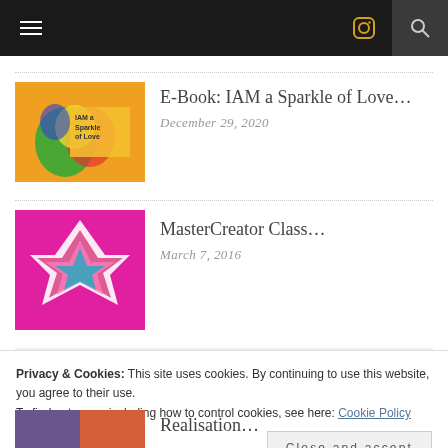Navigation bar with hamburger menu, Instagram icon, and search icon
[Figure (illustration): Book cover for IAM a Sparkle of Love with colorful abstract figures on orange/green background]
E-Book: IAM a Sparkle of Love…
December 29, 2020
[Figure (illustration): Pink background with geometric star/diamond shape in white, pink, and multicolor]
MasterCreator Class…
March 7, 2016
LATEST NEWS
Privacy & Cookies: This site uses cookies. By continuing to use this website, you agree to their use.
To find out more, including how to control cookies, see here: Cookie Policy
Close and accept
Realisation…